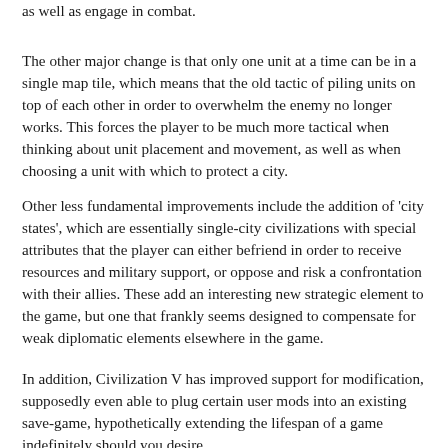as well as engage in combat.
The other major change is that only one unit at a time can be in a single map tile, which means that the old tactic of piling units on top of each other in order to overwhelm the enemy no longer works. This forces the player to be much more tactical when thinking about unit placement and movement, as well as when choosing a unit with which to protect a city.
Other less fundamental improvements include the addition of 'city states', which are essentially single-city civilizations with special attributes that the player can either befriend in order to receive resources and military support, or oppose and risk a confrontation with their allies. These add an interesting new strategic element to the game, but one that frankly seems designed to compensate for weak diplomatic elements elsewhere in the game.
In addition, Civilization V has improved support for modification, supposedly even able to plug certain user mods into an existing save-game, hypothetically extending the lifespan of a game indefinitely should you desire.